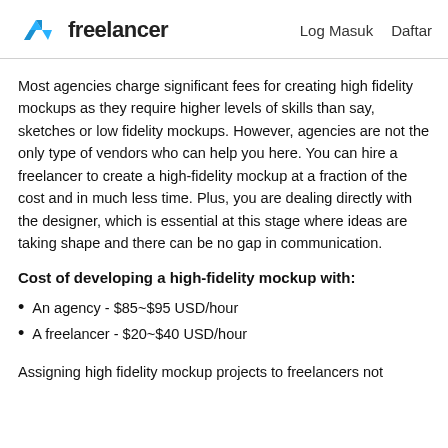freelancer   Log Masuk   Daftar
Most agencies charge significant fees for creating high fidelity mockups as they require higher levels of skills than say, sketches or low fidelity mockups. However, agencies are not the only type of vendors who can help you here. You can hire a freelancer to create a high-fidelity mockup at a fraction of the cost and in much less time. Plus, you are dealing directly with the designer, which is essential at this stage where ideas are taking shape and there can be no gap in communication.
Cost of developing a high-fidelity mockup with:
An agency - $85~$95 USD/hour
A freelancer - $20~$40 USD/hour
Assigning high fidelity mockup projects to freelancers not